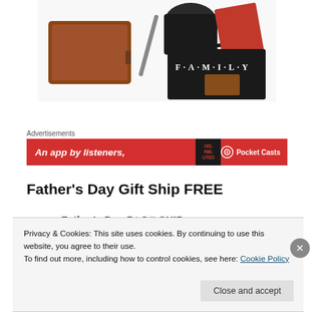[Figure (photo): Flat lay photo showing a brown leather journal/wallet, a pencil, a dark coffee mug, a red book, and a black FAMILY photo album on a white surface.]
Advertisements
[Figure (other): Red advertisement banner for Pocket Casts app reading 'An app by listeners, for listeners' with Pocket Casts logo and a dark book graphic.]
Father's Day Gift Ship FREE
Privacy & Cookies: This site uses cookies. By continuing to use this website, you agree to their use.
To find out more, including how to control cookies, see here: Cookie Policy
Close and accept